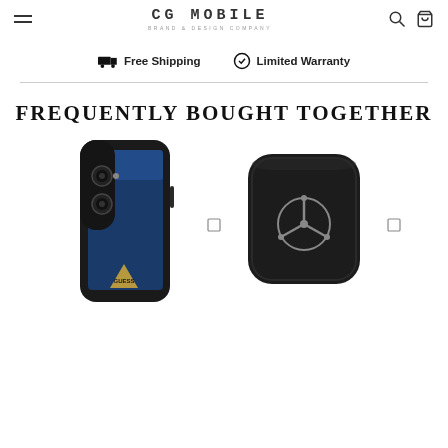CG MOBILE — BRAND & DESIGN COMPANY
🚚 Free Shipping   ✓ Limited Warranty
FREQUENTLY BOUGHT TOGETHER
[Figure (photo): Black Guess silicone phone case for iPhone 13 with gold triangle logo]
[Figure (photo): Black Mercedes-Benz silicone AirPods Pro case with silver star logo]